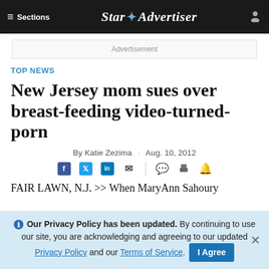≡ Sections   Star✦Advertiser   👤
Advertisement
TOP NEWS
New Jersey mom sues over breast-feeding video-turned-porn
By Katie Zezima · Aug. 10, 2012
FAIR LAWN, N.J. >> When MaryAnn Sahoury
ℹ Our Privacy Policy has been updated. By continuing to use our site, you are acknowledging and agreeing to our updated Privacy Policy and our Terms of Service. I Agree